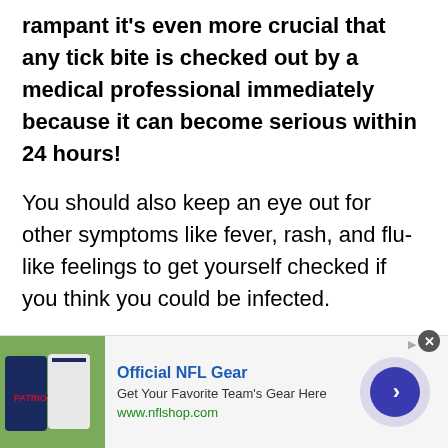rampant it's even more crucial that any tick bite is checked out by a medical professional immediately because it can become serious within 24 hours!
You should also keep an eye out for other symptoms like fever, rash, and flu-like feelings to get yourself checked if you think you could be infected.
[Figure (other): Advertisement banner for Official NFL Gear from nflshop.com showing NFL jerseys/apparel photo, ad title, description, URL, close button, and a navigation arrow button]